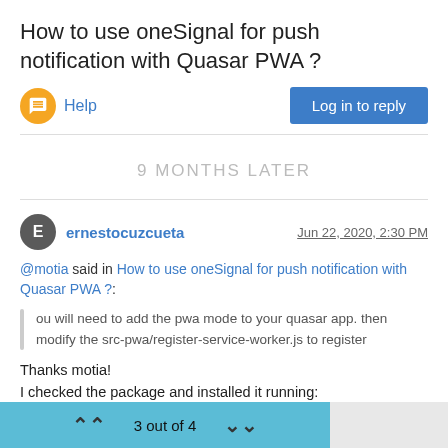How to use oneSignal for push notification with Quasar PWA ?
Help
Log in to reply
9 MONTHS LATER
ernestocuzcueta
Jun 22, 2020, 2:30 PM
@motia said in How to use oneSignal for push notification with Quasar PWA ?:
ou will need to add the pwa mode to your quasar app. then modify the src-pwa/register-service-worker.js to register
Thanks motia!
I checked the package and installed it running:
3 out of 4